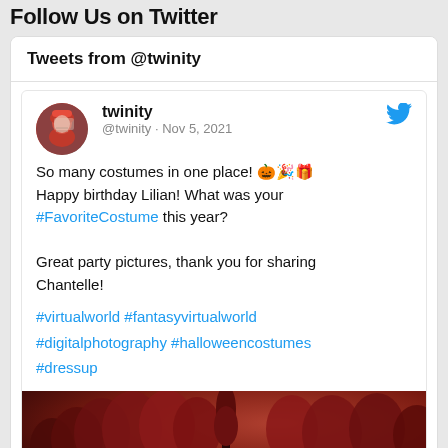Follow Us on Twitter
Tweets from @twinity
twinity
@twinity · Nov 5, 2021
So many costumes in one place! 🎃🎉🎁 Happy birthday Lilian! What was your #FavoriteCostume this year?

Great party pictures, thank you for sharing Chantelle!
#virtualworld #fantasyvirtualworld #digitalphotography #halloweencostumes #dressup
[Figure (photo): Red autumn trees against a dark reddish sky in a virtual world scene]